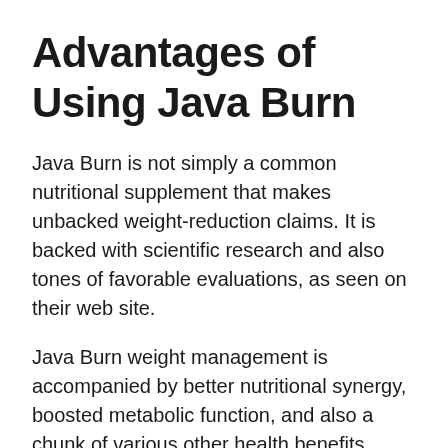Advantages of Using Java Burn
Java Burn is not simply a common nutritional supplement that makes unbacked weight-reduction claims. It is backed with scientific research and also tones of favorable evaluations, as seen on their web site.
Java Burn weight management is accompanied by better nutritional synergy, boosted metabolic function, and also a chunk of various other health benefits.
The powdered supplement has a high success ratio in triggering weight loss while